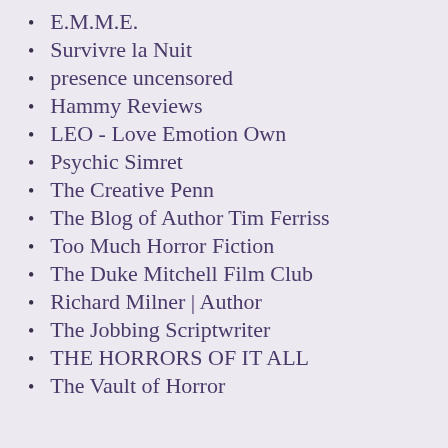E.M.M.E.
Survivre la Nuit
presence uncensored
Hammy Reviews
LEO - Love Emotion Own
Psychic Simret
The Creative Penn
The Blog of Author Tim Ferriss
Too Much Horror Fiction
The Duke Mitchell Film Club
Richard Milner | Author
The Jobbing Scriptwriter
THE HORRORS OF IT ALL
The Vault of Horror